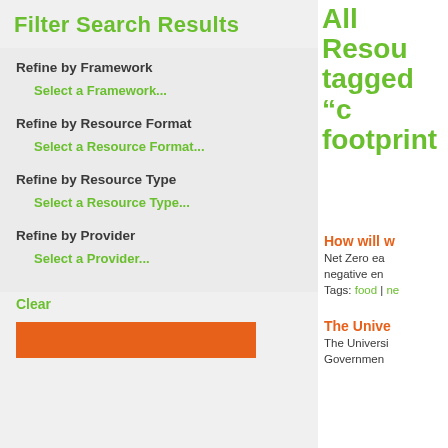Filter Search Results
Refine by Framework
Select a Framework...
Refine by Resource Format
Select a Resource Format...
Refine by Resource Type
Select a Resource Type...
Refine by Provider
Select a Provider...
Clear
All Resources tagged “c footprint
How will w
Net Zero ea negative en
Tags: food | ne
The Unive
The Universi Government